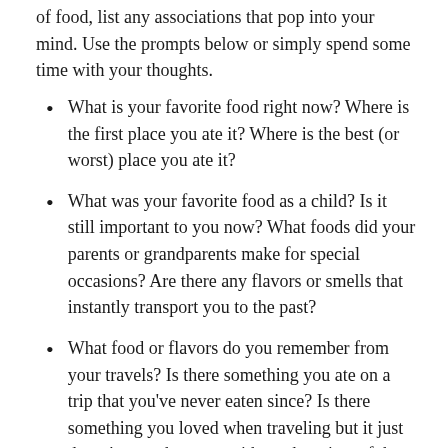of food, list any associations that pop into your mind. Use the prompts below or simply spend some time with your thoughts.
What is your favorite food right now? Where is the first place you ate it? Where is the best (or worst) place you ate it?
What was your favorite food as a child? Is it still important to you now? What foods did your parents or grandparents make for special occasions? Are there any flavors or smells that instantly transport you to the past?
What food or flavors do you remember from your travels? Is there something you ate on a trip that you've never eaten since? Is there something you loved when traveling but it just doesn't taste the same without that view of the setting sun?